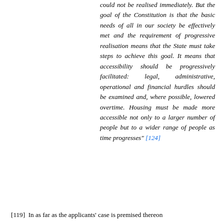could not be realised immediately. But the goal of the Constitution is that the basic needs of all in our society be effectively met and the requirement of progressive realisation means that the State must take steps to achieve this goal. It means that accessibility should be progressively facilitated: legal, administrative, operational and financial hurdles should be examined and, where possible, lowered overtime. Housing must be made more accessible not only to a larger number of people but to a wider range of people as time progresses" [124]
[119]  In as far as the applicants' case is premised thereon